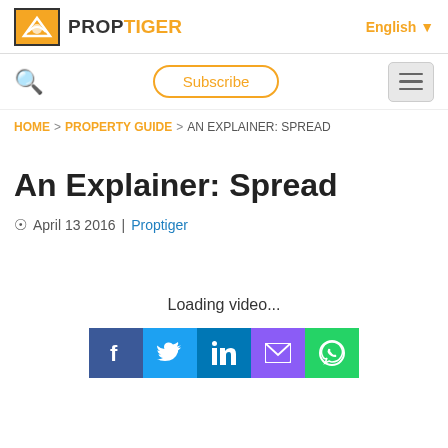PROPTIGER | English
Subscribe
HOME > PROPERTY GUIDE > AN EXPLAINER: SPREAD
An Explainer: Spread
April 13 2016  |  Proptiger
Loading video...
[Figure (other): Social media sharing buttons: Facebook, Twitter, LinkedIn, Email, WhatsApp]